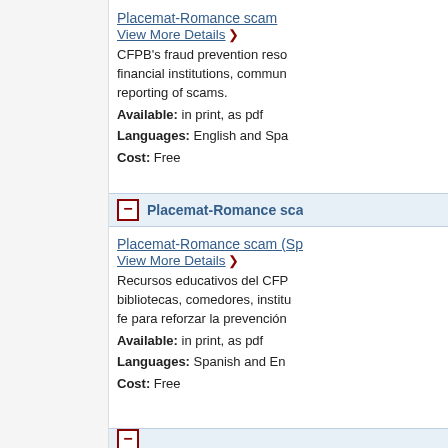Placemat-Romance scam
View More Details ›
CFPB's fraud prevention resources for financial institutions, communities, and reporting of scams.
Available: in print, as pdf
Languages: English and Spanish
Cost: Free
Placemat-Romance scam
Placemat-Romance scam (Spanish)
View More Details ›
Recursos educativos del CFPB para bibliotecas, comedores, instituciones de fe para reforzar la prevención...
Available: in print, as pdf
Languages: Spanish and English
Cost: Free